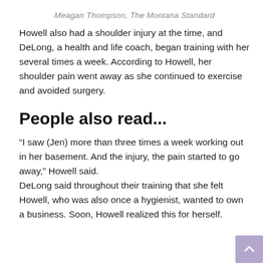Meagan Thompson, The Montana Standard
Howell also had a shoulder injury at the time, and DeLong, a health and life coach, began training with her several times a week. According to Howell, her shoulder pain went away as she continued to exercise and avoided surgery.
People also read...
“I saw (Jen) more than three times a week working out in her basement. And the injury, the pain started to go away,” Howell said.
DeLong said throughout their training that she felt Howell, who was also once a hygienist, wanted to own a business. Soon, Howell realized this for herself.